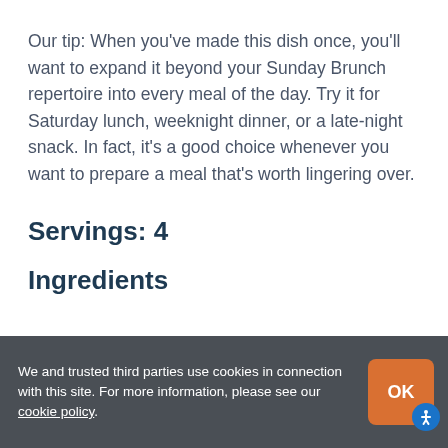Our tip: When you've made this dish once, you'll want to expand it beyond your Sunday Brunch repertoire into every meal of the day. Try it for Saturday lunch, weeknight dinner, or a late-night snack. In fact, it's a good choice whenever you want to prepare a meal that's worth lingering over.
Servings: 4
Ingredients
We and trusted third parties use cookies in connection with this site. For more information, please see our cookie policy.